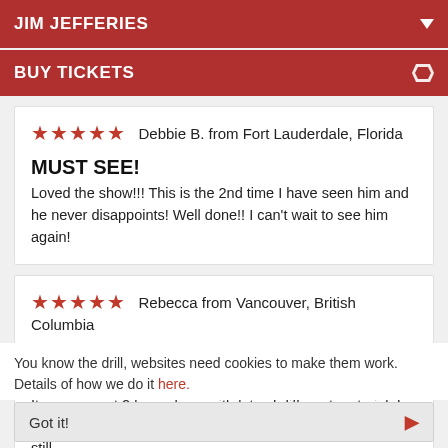JIM JEFFERIES
BUY TICKETS
★★★★★  Debbie B. from Fort Lauderdale, Florida
MUST SEE!
Loved the show!!! This is the 2nd time I have seen him and he never disappoints! Well done!! I can't wait to see him again!
★★★★★  Rebecca from Vancouver, British Columbia
EVEN BETTER THAN HIS NETFLIX SPECIALS
It was a great 2 hour show, with lots of different material. I laughed the entire time, and he really put on a good show. I still
You know the drill, websites need cookies to make them work. Details of how we do it here.
Got it!